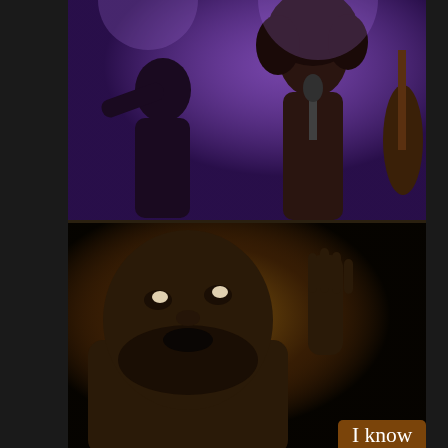[Figure (photo): Two photos stacked vertically on the right side of the page. Top photo: a performer on stage gesturing with a woman with natural hair singing near a microphone and another figure with a double bass, against a purple background. Bottom photo: a close-up of a bearded man looking upward with his hand raised, against a warm-toned background.]
I know that the topic of finding a way to revitalize the commercial success and popularity of jazz is certainly nothing new. However in 2012, it seemed that many found it necessary to anoint two musicians as saviors for jazz in the mainstream. Bassist/vocalist Esperanza Spalding beat out pop child Justin Bieber for the 2011 Grammy for Best New Artist (much to the chagrin of 9 year old girls everywhere), and keyboardist Robert Glasper made a musical appearance on David Letterman. Following this, jazz bloggers and writers seemed to suggest that these